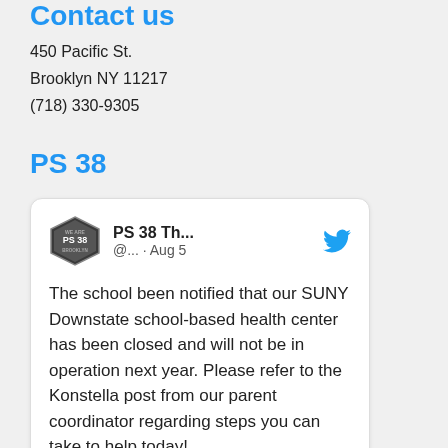Contact us
450 Pacific St.
Brooklyn NY 11217
(718) 330-9305
PS 38
[Figure (screenshot): Tweet card from PS 38 Twitter account. Handle: @... · Aug 5. Text: The school been notified that our SUNY Downstate school-based health center has been closed and will not be in operation next year. Please refer to the Konstella post from our parent coordinator regarding steps you can take to help today!]